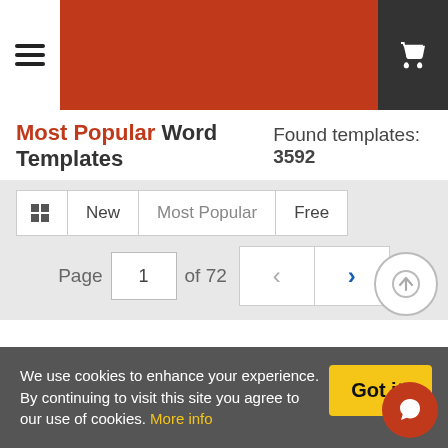Most Popular Word Templates — Found templates: 3592
New | Most Popular | Free
Page 1 of 72
We use cookies to enhance your experience. By continuing to visit this site you agree to our use of cookies. More info